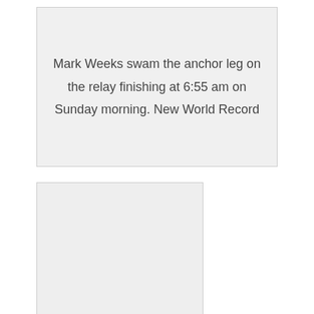Mark Weeks swam the anchor leg on the relay finishing at 6:55 am on Sunday morning. New World Record
[Figure (photo): A blank/empty light gray image placeholder box]